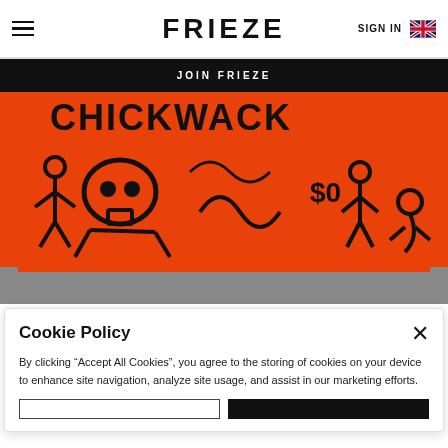FRIEZE | SIGN IN
JOIN FRIEZE
[Figure (photo): Keith Haring-style orange mural with black line art figures, skulls, and text reading 'CHICKWACK', painted on an outdoor wall.]
Cookie Policy
By clicking “Accept All Cookies”, you agree to the storing of cookies on your device to enhance site navigation, analyze site usage, and assist in our marketing efforts.